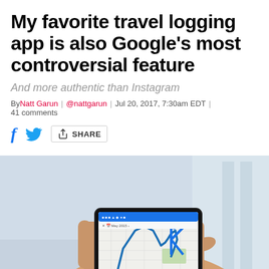My favorite travel logging app is also Google's most controversial feature
And more authentic than Instagram
By Natt Garun | @nattgarun | Jul 20, 2017, 7:30am EDT | 41 comments
[Figure (infographic): Social share bar with Facebook, Twitter, and Share icons]
[Figure (photo): A hand holding a smartphone displaying a Google Maps travel timeline for May 2015 with blue route lines on a map]